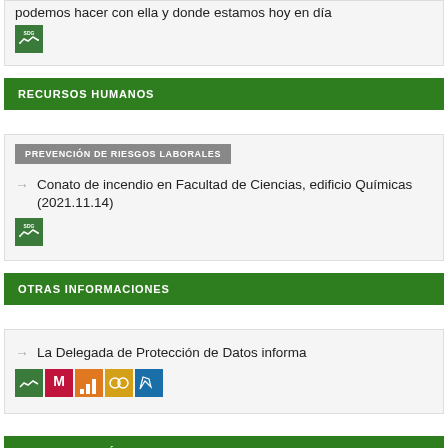podemos hacer con ella y donde estamos hoy en día
[Figure (logo): SDG green icon]
RECURSOS HUMANOS
PREVENCIÓN DE RIESGOS LABORALES
Conato de incendio en Facultad de Ciencias, edificio Químicas (2021.11.14)
[Figure (logo): SDG green icon]
OTRAS INFORMACIONES
La Delegada de Protección de Datos informa
[Figure (logo): Row of 5 SDG icons: green, red, orange, yellow, blue]
CULTURA, POLÍTICA SOCIAL Y DEPORTE